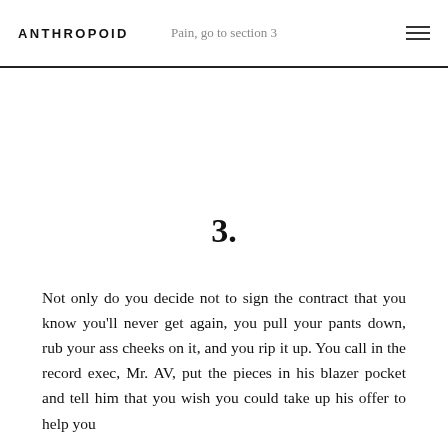ANTHROPOID
Pain, go to section 3
3.
Not only do you decide not to sign the contract that you know you'll never get again, you pull your pants down, rub your ass cheeks on it, and you rip it up. You call in the record exec, Mr. AV, put the pieces in his blazer pocket and tell him that you wish you could take up his offer to help you